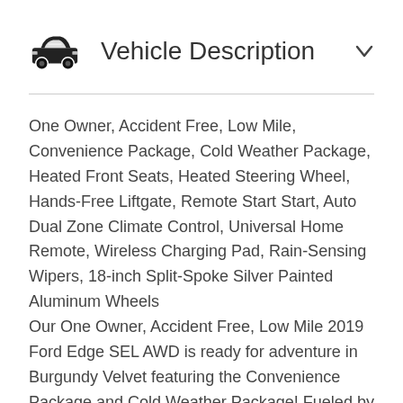Vehicle Description
One Owner, Accident Free, Low Mile, Convenience Package, Cold Weather Package, Heated Front Seats, Heated Steering Wheel, Hands-Free Liftgate, Remote Start Start, Auto Dual Zone Climate Control, Universal Home Remote, Wireless Charging Pad, Rain-Sensing Wipers, 18-inch Split-Spoke Silver Painted Aluminum Wheels
Our One Owner, Accident Free, Low Mile 2019 Ford Edge SEL AWD is ready for adventure in Burgundy Velvet featuring the Convenience Package and Cold Weather Package! Fueled by a TurboCharged 2.0 Liter EcoBoost 4 Cylinder offers 245hp connected to a responsive 8 Speed Automatic transmission. This All Wheel Drive SUV scores near